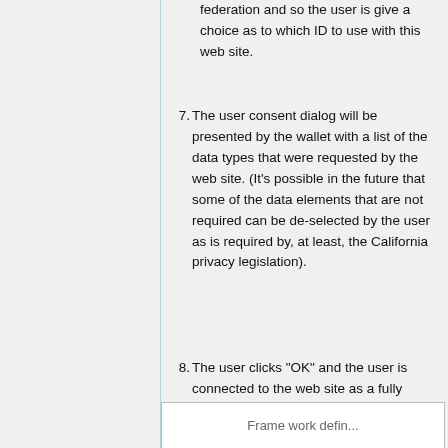federation and so the user is give a choice as to which ID to use with this web site.
7. The user consent dialog will be presented by the wallet with a list of the data types that were requested by the web site. (It's possible in the future that some of the data elements that are not required can be de-selected by the user as is required by, at least, the California privacy legislation).
8. The user clicks "OK" and the user is connected to the web site as a fully registered user.
Frame work defin...